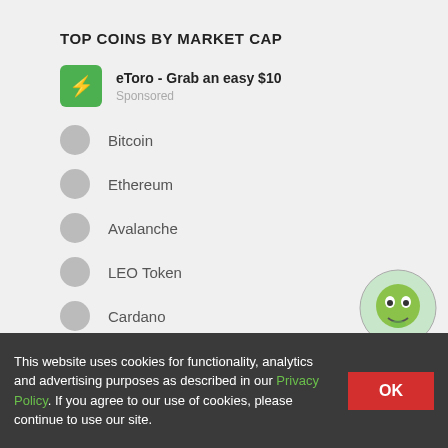TOP COINS BY MARKET CAP
eToro - Grab an easy $10
Sponsored
Bitcoin
Ethereum
Avalanche
LEO Token
Cardano
Polygon
Solana
Compare with other coins
This website uses cookies for functionality, analytics and advertising purposes as described in our Privacy Policy. If you agree to our use of cookies, please continue to use our site.